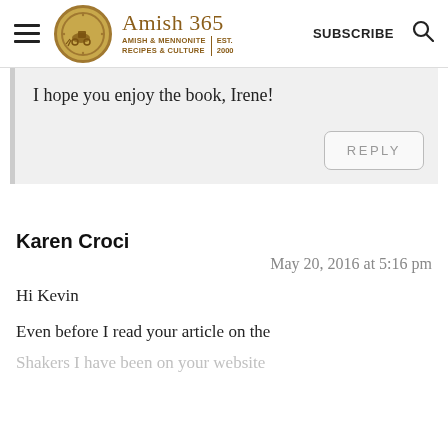Amish 365 | AMISH & MENNONITE RECIPES & CULTURE | EST. 2000 | SUBSCRIBE
I hope you enjoy the book, Irene!
REPLY
Karen Croci
May 20, 2016 at 5:16 pm
Hi Kevin
Even before I read your article on the
Shakers I have been on your website